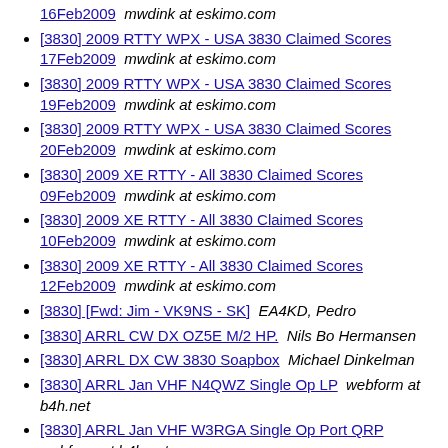16Feb2009  mwdink at eskimo.com
[3830] 2009 RTTY WPX - USA 3830 Claimed Scores 17Feb2009  mwdink at eskimo.com
[3830] 2009 RTTY WPX - USA 3830 Claimed Scores 19Feb2009  mwdink at eskimo.com
[3830] 2009 RTTY WPX - USA 3830 Claimed Scores 20Feb2009  mwdink at eskimo.com
[3830] 2009 XE RTTY - All 3830 Claimed Scores 09Feb2009  mwdink at eskimo.com
[3830] 2009 XE RTTY - All 3830 Claimed Scores 10Feb2009  mwdink at eskimo.com
[3830] 2009 XE RTTY - All 3830 Claimed Scores 12Feb2009  mwdink at eskimo.com
[3830] [Fwd: Jim - VK9NS - SK]  EA4KD, Pedro
[3830] ARRL CW DX OZ5E M/2 HP.  Nils Bo Hermansen
[3830] ARRL DX CW 3830 Soapbox  Michael Dinkelman
[3830] ARRL Jan VHF N4QWZ Single Op LP  webform at b4h.net
[3830] ARRL Jan VHF W3RGA Single Op Port QRP  webform at b4h.net
[3830] ARRLDX CW 2E0CVN SOAB LP  webform at b4h.net
[3830] ARRLDX CW 3V8SS SOAB LP  webform at b4h.net
[3830] ARRLDX CW 7J1AAI(W1NN) SOSB/40 HP